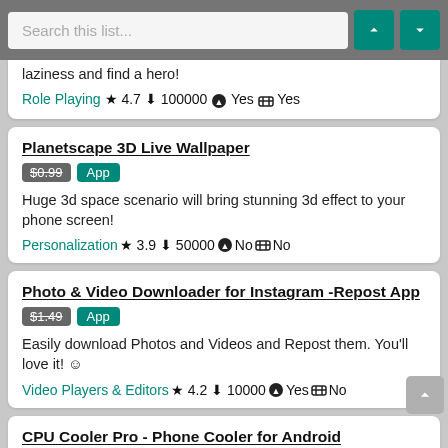Search this list...
laziness and find a hero!
Role Playing ★ 4.7 ⬇ 100000 ⬤ Yes 🛒 Yes
Planetscape 3D Live Wallpaper
$0.99 App
Huge 3d space scenario will bring stunning 3d effect to your phone screen!
Personalization ★ 3.9 ⬇ 50000 ⬤ No 🛒 No
Photo & Video Downloader for Instagram -Repost App
$1.49 App
Easily download Photos and Videos and Repost them. You'll love it! ☺
Video Players & Editors ★ 4.2 ⬇ 10000 ⬤ Yes 🛒 No
CPU Cooler Pro - Phone Cooler for Android